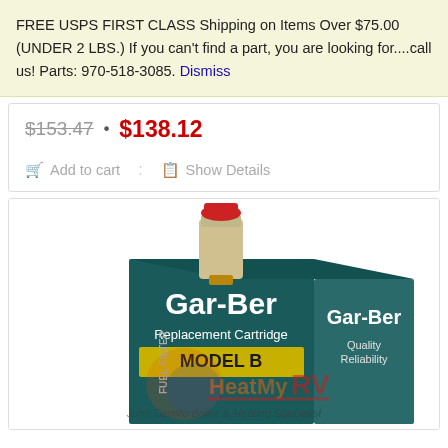FREE USPS FIRST CLASS Shipping on Items Over $75.00 (UNDER 2 LBS.) If you can't find a part, you are looking for....call us! Parts: 970-518-3085. Dismiss
$153.47 · $138.12
Add to cart : Show Details
[Figure (photo): Gar-Ber Replacement Cartridge Model B fuel filter product in box with HeatMyRV watermark logo]